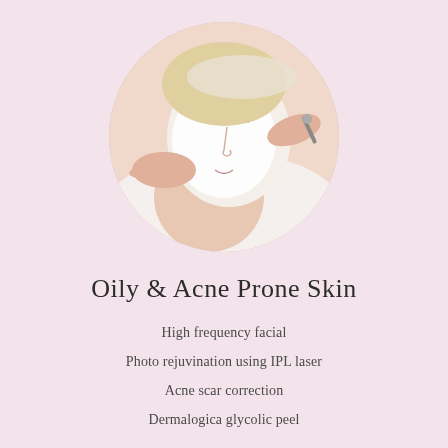[Figure (photo): Circular cropped photo of a woman lying down receiving a facial treatment with a white clay mask applied to her face, hands of a practitioner visible applying the treatment]
Oily & Acne Prone Skin
High frequency facial
Photo rejuvination using IPL laser
Acne scar correction
Dermalogica glycolic peel